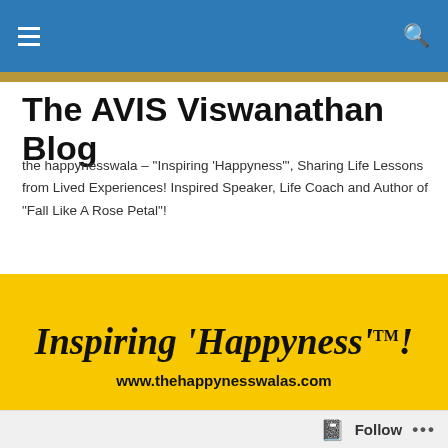The AVIS Viswanathan Blog
The AVIS Viswanathan Blog
the happynesswala – "Inspiring 'Happyness'", Sharing Life Lessons from Lived Experiences! Inspired Speaker, Life Coach and Author of "Fall Like A Rose Petal"!
[Figure (infographic): Yellow banner with italic bold text 'Inspiring Happyness'! with TM superscript, and URL www.thehappynesswalas.com below]
TAGGED WITH MARGAZHI
Why we are ok with d...